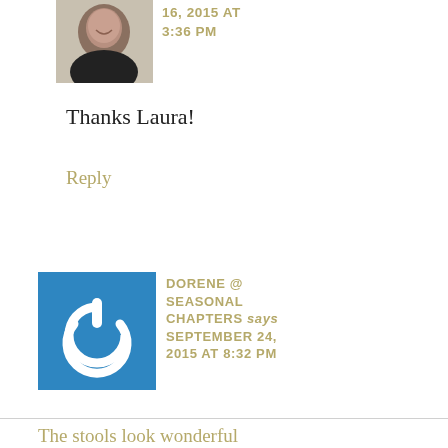[Figure (photo): Profile photo of a person smiling, partial view at top of page]
16, 2015 AT 3:36 PM
Thanks Laura!
Reply
[Figure (logo): Blue square icon with white power button symbol]
DORENE @ SEASONAL CHAPTERS says SEPTEMBER 24, 2015 AT 8:32 PM
The stools look wonderful